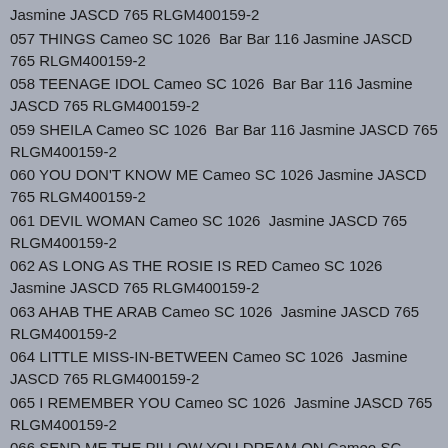Jasmine JASCD 765 RLGM400159-2
057 THINGS Cameo SC 1026  Bar Bar 116 Jasmine JASCD 765 RLGM400159-2
058 TEENAGE IDOL Cameo SC 1026  Bar Bar 116 Jasmine JASCD 765 RLGM400159-2
059 SHEILA Cameo SC 1026  Bar Bar 116 Jasmine JASCD 765 RLGM400159-2
060 YOU DON'T KNOW ME Cameo SC 1026 Jasmine JASCD 765 RLGM400159-2
061 DEVIL WOMAN Cameo SC 1026  Jasmine JASCD 765 RLGM400159-2
062 AS LONG AS THE ROSIE IS RED Cameo SC 1026 Jasmine JASCD 765 RLGM400159-2
063 AHAB THE ARAB Cameo SC 1026  Jasmine JASCD 765 RLGM400159-2
064 LITTLE MISS-IN-BETWEEN Cameo SC 1026  Jasmine JASCD 765 RLGM400159-2
065 I REMEMBER YOU Cameo SC 1026  Jasmine JASCD 765 RLGM400159-2
066 SEND ME THE PILLOW YOU DREAM ON Cameo SC 1026    Jasmine JASCD 765 RLGM400159-2
Ca 1963 unknown – Jo-Ann Campbell
067 ANTHER, PLEASE Cameo SC 1026 RLGM400159-2